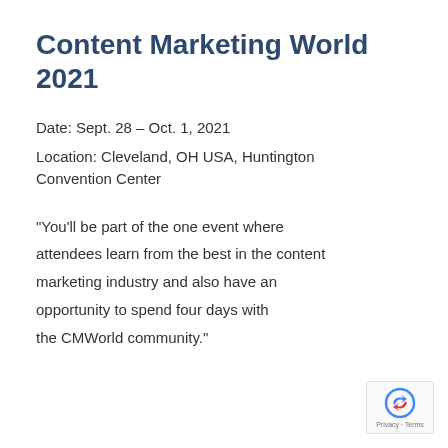Content Marketing World 2021
Date: Sept. 28 – Oct. 1, 2021
Location: Cleveland, OH USA, Huntington Convention Center
“You’ll be part of the one event where attendees learn from the best in the content marketing industry and also have an opportunity to spend four days with the CMWorld community.”
[Figure (logo): Google reCAPTCHA badge with arrow icon and Privacy - Terms text]